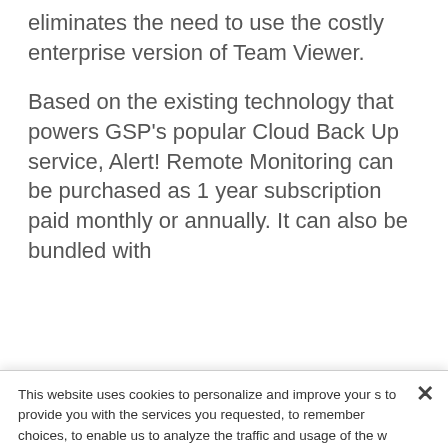eliminates the need to use the costly enterprise version of Team Viewer.
Based on the existing technology that powers GSP's popular Cloud Back Up service, Alert! Remote Monitoring can be purchased as 1 year subscription paid monthly or annually. It can also be bundled with
This website uses cookies to personalize and improve your s to provide you with the services you requested, to remember choices, to enable us to analyze the traffic and usage of the w support our sales and marketing efforts. You may choose to c use of these technologies, or further manage your preference continuing or selecting "Accept Cookies", you agree that we r data about you and use cookies as described in our Privacy
If you wish to make more granular choices, please select "Co
Do Not Sell my Information –this will disable personalized advertising and tracking